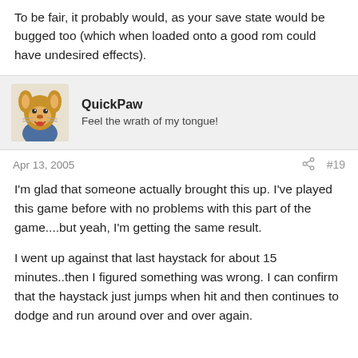To be fair, it probably would, as your save state would be bugged too (which when loaded onto a good rom could have undesired effects).
QuickPaw
Feel the wrath of my tongue!
Apr 13, 2005
#19
I'm glad that someone actually brought this up. I've played this game before with no problems with this part of the game....but yeah, I'm getting the same result.
I went up against that last haystack for about 15 minutes..then I figured something was wrong. I can confirm that the haystack just jumps when hit and then continues to dodge and run around over and over again.